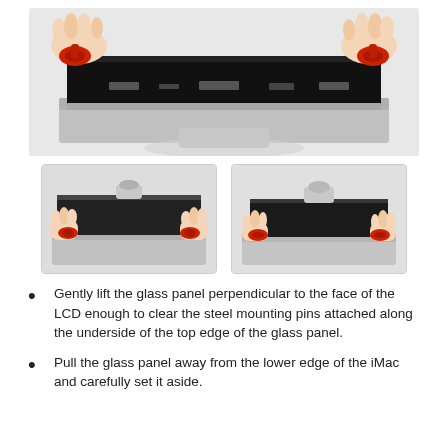[Figure (photo): Hands using red suction cups to lift the glass panel off an iMac, viewed from above. The black glass panel is being raised from the silver iMac body.]
[Figure (photo): Two smaller images side by side: left shows hands tilting the glass panel at an angle away from the iMac LCD, right shows the same action from a slightly different angle.]
Gently lift the glass panel perpendicular to the face of the LCD enough to clear the steel mounting pins attached along the underside of the top edge of the glass panel.
Pull the glass panel away from the lower edge of the iMac and carefully set it aside.